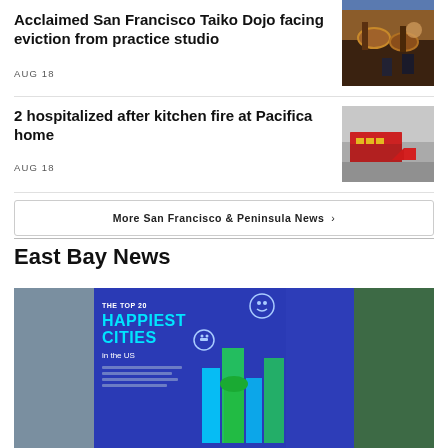[Figure (photo): Partial image visible at top right corner]
Acclaimed San Francisco Taiko Dojo facing eviction from practice studio
AUG 18
[Figure (photo): People playing taiko drums on stage]
2 hospitalized after kitchen fire at Pacifica home
AUG 18
[Figure (photo): Red fire truck on street]
More San Francisco & Peninsula News  ›
East Bay News
[Figure (infographic): The Top 20 Happiest Cities in the US infographic with city illustrations on blue background]